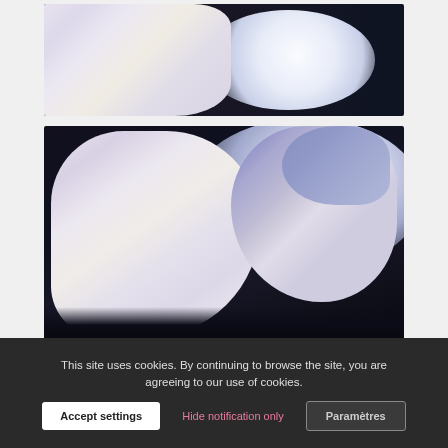[Figure (photo): Top photo: anime figure in white dress against a dark background with large white moon behind, partial view showing upper portion]
[Figure (photo): Bottom photo: two anime figures in white dresses, one with blonde hair and one with blue/lavender hair and red eyes, posed together against dark moon background]
This site uses cookies. By continuing to browse the site, you are agreeing to our use of cookies.
Accept settings
Hide notification only
Paramètres